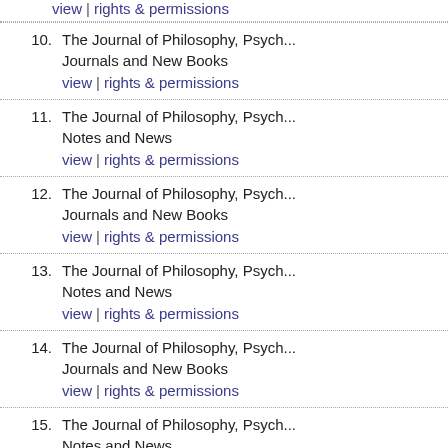view | rights & permissions
10. The Journal of Philosophy, Psych... Journals and New Books
view | rights & permissions
11. The Journal of Philosophy, Psych... Notes and News
view | rights & permissions
12. The Journal of Philosophy, Psych... Journals and New Books
view | rights & permissions
13. The Journal of Philosophy, Psych... Notes and News
view | rights & permissions
14. The Journal of Philosophy, Psych... Journals and New Books
view | rights & permissions
15. The Journal of Philosophy, Psych... Notes and News
view | rights & permissions
16. The Journal of Philosophy, Psych... Journals and New Books
view | rights & permissions